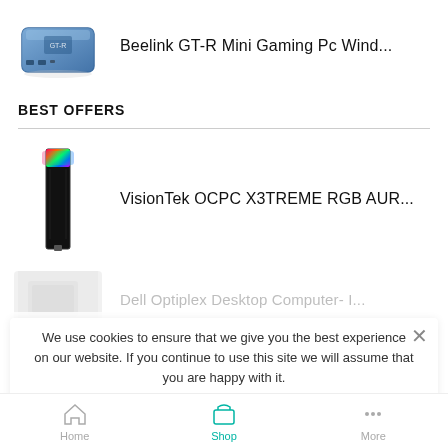[Figure (photo): Beelink GT-R Mini Gaming PC product photo - small blue/silver mini PC box]
Beelink GT-R Mini Gaming Pc Wind...
BEST OFFERS
[Figure (photo): VisionTek OCPC X3TREME RGB RAM stick with rainbow RGB lighting]
VisionTek OCPC X3TREME RGB AUR...
[Figure (photo): Dell Optiplex Desktop Computer partial image (obscured by cookie banner)]
Dell Optiplex Desktop Computer- I...
We use cookies to ensure that we give you the best experience on our website. If you continue to use this site we will assume that you are happy with it.
Ok
Home
Shop
More